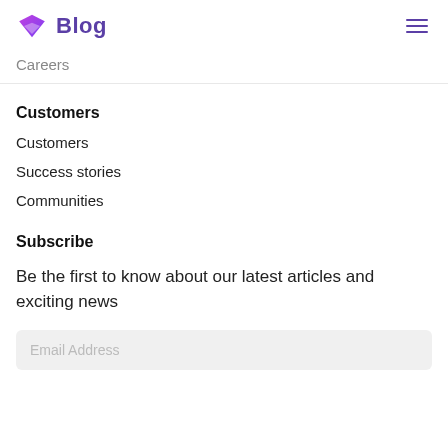Blog
Careers
Customers
Customers
Success stories
Communities
Subscribe
Be the first to know about our latest articles and exciting news
Email Address